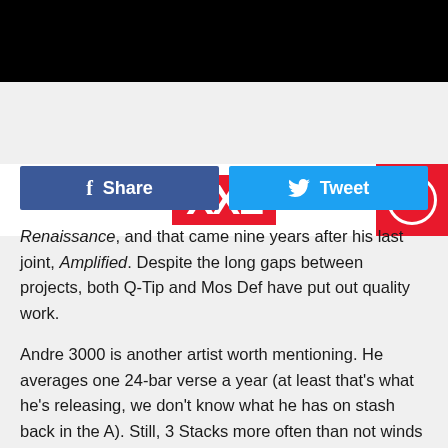XXL
[Figure (other): Social sharing buttons: Facebook Share and Twitter Tweet]
Renaissance, and that came nine years after his last joint, Amplified. Despite the long gaps between projects, both Q-Tip and Mos Def have put out quality work.
Andre 3000 is another artist worth mentioning. He averages one 24-bar verse a year (at least that's what he's releasing, we don't know what he has on stash back in the A). Still, 3 Stacks more often than not winds up on a lot of folks top five list.
On the other hand, Rick Ross has put out about an album a